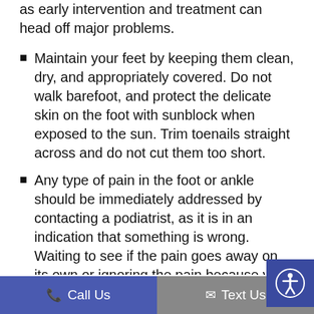as early intervention and treatment can head off major problems.
Maintain your feet by keeping them clean, dry, and appropriately covered. Do not walk barefoot, and protect the delicate skin on the foot with sunblock when exposed to the sun. Trim toenails straight across and do not cut them too short.
Any type of pain in the foot or ankle should be immediately addressed by contacting a podiatrist, as it is in an indication that something is wrong. Waiting to see if the pain goes away on its own or ignoring the pain because you
Call Us   Text Us